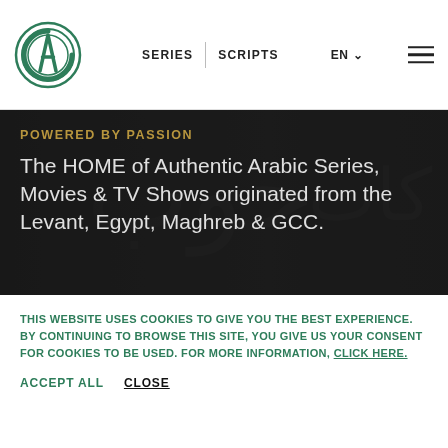CA logo | SERIES | SCRIPTS | EN
[Figure (illustration): Dark hero banner with Arabic calligraphy watermark in background, semi-transparent overlay]
POWERED BY PASSION
The HOME of Authentic Arabic Series, Movies & TV Shows originated from the Levant, Egypt, Maghreb & GCC.
THIS WEBSITE USES COOKIES TO GIVE YOU THE BEST EXPERIENCE. BY CONTINUING TO BROWSE THIS SITE, YOU GIVE US YOUR CONSENT FOR COOKIES TO BE USED. FOR MORE INFORMATION, CLICK HERE.
ACCEPT ALL   CLOSE